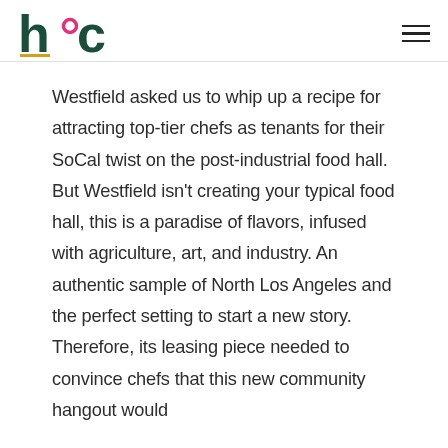hoc
Westfield asked us to whip up a recipe for attracting top-tier chefs as tenants for their SoCal twist on the post-industrial food hall. But Westfield isn't creating your typical food hall, this is a paradise of flavors, infused with agriculture, art, and industry. An authentic sample of North Los Angeles and the perfect setting to start a new story. Therefore, its leasing piece needed to convince chefs that this new community hangout would be into food in a serious way.